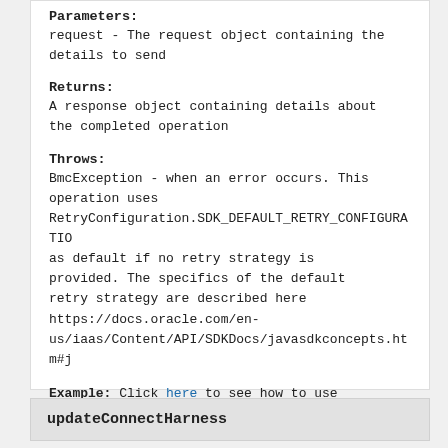Parameters:
request - The request object containing the details to send
Returns:
A response object containing details about the completed operation
Throws:
BmcException - when an error occurs. This operation uses RetryConfiguration.SDK_DEFAULT_RETRY_CONFIGURATION as default if no retry strategy is provided. The specifics of the default retry strategy are described here https://docs.oracle.com/en-us/iaas/Content/API/SDKDocs/javasdkconcepts.htm#j
Example: Click here to see how to use ListStreams API.
updateConnectHarness